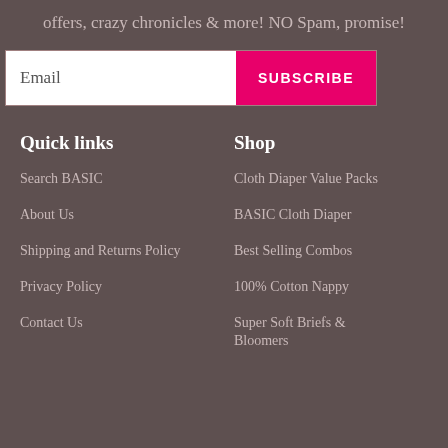offers, crazy chronicles & more! NO Spam, promise!
Email
SUBSCRIBE
Quick links
Shop
Search BASIC
Cloth Diaper Value Packs
About Us
BASIC Cloth Diaper
Shipping and Returns Policy
Best Selling Combos
Privacy Policy
100% Cotton Nappy
Contact Us
Super Soft Briefs & Bloomers